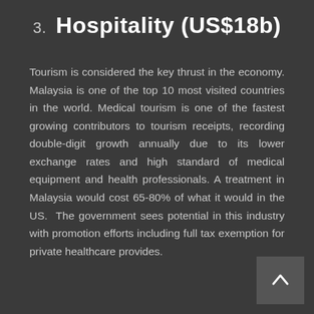3. Hospitality (US$18b)
Tourism is considered the key thrust in the economy. Malaysia is one of the top 10 most visited countries in the world. Medical tourism is one of the fastest growing contributors to tourism receipts, recording double-digit growth annually due to its lower exchange rates and high standard of medical equipment and health professionals. A treatment in Malaysia would cost 65-80% of what it would in the US. The government sees potential in this industry with promotion efforts including full tax exemption for private healthcare provides.